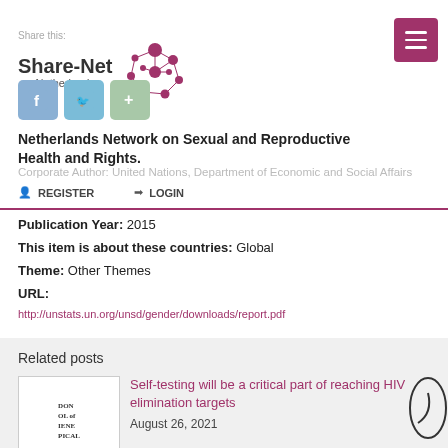[Figure (logo): Share-Net Netherlands logo with network dot graphic and social sharing icons (Facebook, Twitter, Google+)]
Netherlands Network on Sexual and Reproductive Health and Rights.
Corporate Author: United Nations, Department of Economic and Social Affairs
Publication Year: 2015
This item is about these countries: Global
Theme: Other Themes
URL:
http://unstats.un.org/unsd/gender/downloads/report.pdf
Related posts
Self-testing will be a critical part of reaching HIV elimination targets
August 26, 2021